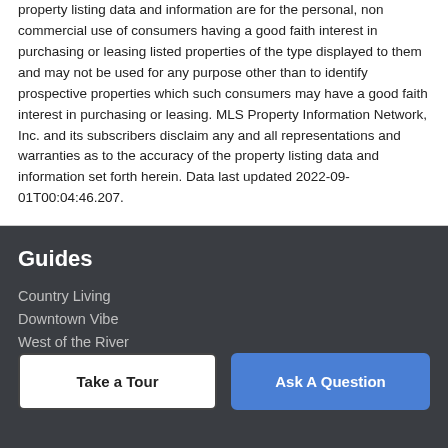property listing data and information are for the personal, non commercial use of consumers having a good faith interest in purchasing or leasing listed properties of the type displayed to them and may not be used for any purpose other than to identify prospective properties which such consumers may have a good faith interest in purchasing or leasing. MLS Property Information Network, Inc. and its subscribers disclaim any and all representations and warranties as to the accuracy of the property listing data and information set forth herein. Data last updated 2022-09-01T00:04:46.207.
Guides
Country Living
Downtown Vibe
West of the River
College Towns
East Longmeadow